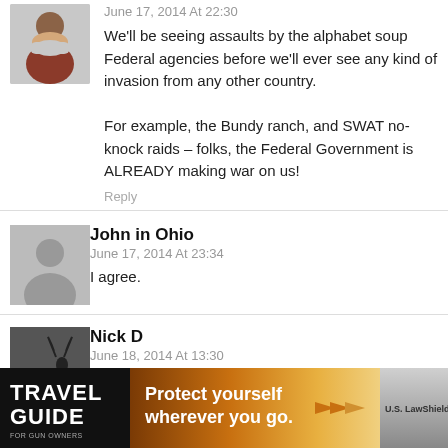[Figure (photo): Avatar photo of a bearded older man with gray beard, small image top left]
We'll be seeing assaults by the alphabet soup Federal agencies before we'll ever see any kind of invasion from any other country.

For example, the Bundy ranch, and SWAT no-knock raids – folks, the Federal Government is ALREADY making war on us!
Reply
[Figure (illustration): Default user silhouette avatar (gray person icon on gray background)]
John in Ohio
June 17, 2014 At 23:34
I agree.
[Figure (photo): Avatar photo for Nick D, showing silhouette of person with antlers/hat outdoors]
Nick D
June 18, 2014 At 13:30
...stify to that in
[Figure (photo): Advertisement banner: Travel Guide for Gun Owners - Protect yourself wherever you go. US LawShield.]